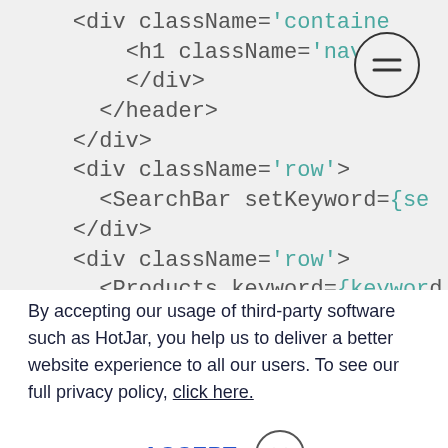[Figure (screenshot): Code editor screenshot showing JSX/HTML code with tags: div className='container', h1 className='navb...', /div, /header, /div, div className='row', SearchBar setKeyword={se..., /div, div className='row', Products keyword={keyword..., /div. A hamburger menu icon (circle with two lines) is visible in the top right corner.]
By accepting our usage of third-party software such as HotJar, you help us to deliver a better website experience to all our users. To see our full privacy policy, click here.
ACCEPT